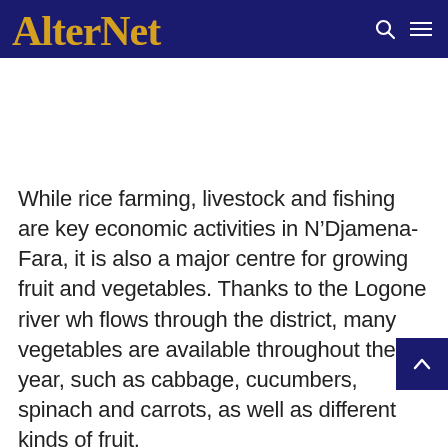AlterNet
While rice farming, livestock and fishing are key economic activities in N’Djamena-Fara, it is also a major centre for growing fruit and vegetables. Thanks to the Logone river wh flows through the district, many vegetables are available throughout the year, such as cabbage, cucumbers, spinach and carrots, as well as different kinds of fruit.